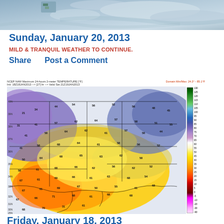[Figure (photo): Satellite or aerial weather photo showing cloud patterns and terrain, grayscale/blue tones]
Sunday, January 20, 2013
MILD & TRANQUIL WEATHER TO CONTINUE.
Share      Post a Comment
[Figure (map): NCEP NAM Maximum 24-hours 2-meter TEMPERATURE (°F) weather map. Init: 18Z18JAN2013 --> [27] hr --> Valid Sat 21Z19JAN2013. Domain Min/Max: 24.3° - 85.1°F. Color-filled temperature map of central/eastern US showing warm temperatures (yellows/oranges/reds) across southern and central US and cooler temperatures (blues/purples) in the north. Color scale from -90 to 130°F on right side.]
Friday, January 18, 2013